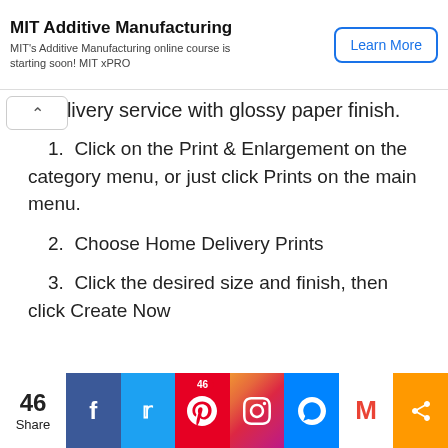[Figure (other): MIT Additive Manufacturing advertisement banner with 'Learn More' button]
livery service with glossy paper finish.
1. Click on the Print & Enlargement on the category menu, or just click Prints on the main menu.
2. Choose Home Delivery Prints
3. Click the desired size and finish, then click Create Now
[Figure (other): Social media share bar with Facebook, Twitter, Pinterest, Instagram, Messenger, Gmail, and share buttons showing 46 shares]